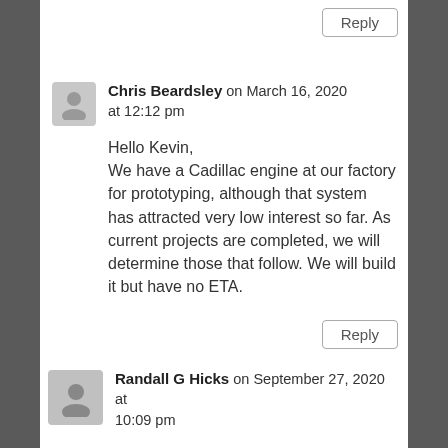[Figure (other): Reply button at top right]
[Figure (other): Avatar icon for Chris Beardsley]
Chris Beardsley on March 16, 2020 at 12:12 pm
Hello Kevin,
We have a Cadillac engine at our factory for prototyping, although that system has attracted very low interest so far. As current projects are completed, we will determine those that follow. We will build it but have no ETA.
[Figure (other): Reply button at bottom right of Chris Beardsley comment]
[Figure (other): Avatar icon for Randall G Hicks]
Randall G Hicks on September 27, 2020 at 10:09 pm